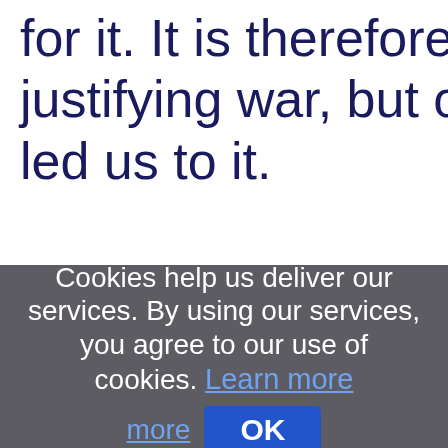for it. It is therefore not a question of justifying war, but of understanding what led us to it.
Cookies help us deliver our services. By using our services, you agree to our use of cookies. Learn more OK